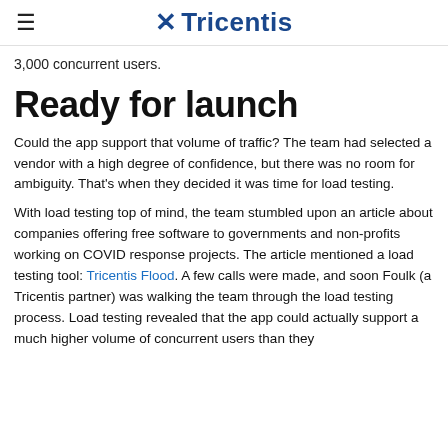≡ Tricentis
3,000 concurrent users.
Ready for launch
Could the app support that volume of traffic? The team had selected a vendor with a high degree of confidence, but there was no room for ambiguity. That's when they decided it was time for load testing.
With load testing top of mind, the team stumbled upon an article about companies offering free software to governments and non-profits working on COVID response projects. The article mentioned a load testing tool: Tricentis Flood. A few calls were made, and soon Foulk (a Tricentis partner) was walking the team through the load testing process. Load testing revealed that the app could actually support a much higher volume of concurrent users than they